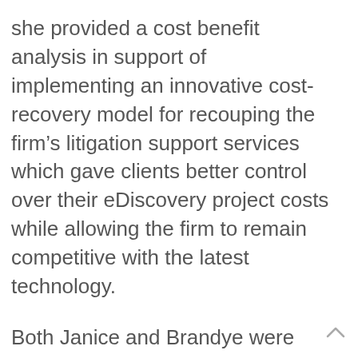she provided a cost benefit analysis in support of implementing an innovative cost-recovery model for recouping the firm’s litigation support services which gave clients better control over their eDiscovery project costs while allowing the firm to remain competitive with the latest technology.
Both Janice and Brandye were members of a team of litigation support professionals charged with developing the eDiscovery Core Competency (ECC) Learning Plan of LTC4. Over a 21-month period, the team collaborated and created scenario-based training modules to define the core competency standards for